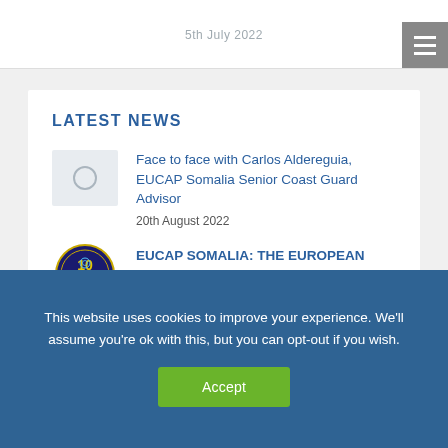5th July 2022
LATEST NEWS
Face to face with Carlos Aldereguia, EUCAP Somalia Senior Coast Guard Advisor
20th August 2022
EUCAP SOMALIA: THE EUROPEAN UNION'S CIVILIAN MISSION IN SOMALIA CELEBRATES ITS 10TH ANNIVERSARY
This website uses cookies to improve your experience. We'll assume you're ok with this, but you can opt-out if you wish.